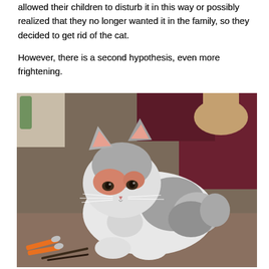allowed their children to disturb it in this way or possibly realized that they no longer wanted it in the family, so they decided to get rid of the cat.
However, there is a second hypothesis, even more frightening.
[Figure (photo): A gray and white cat with pink ears and reddish skin irritation on its face, sitting on a table. A person in a dark red/maroon shirt is visible behind the cat. Orange scissors are visible in the lower left corner.]